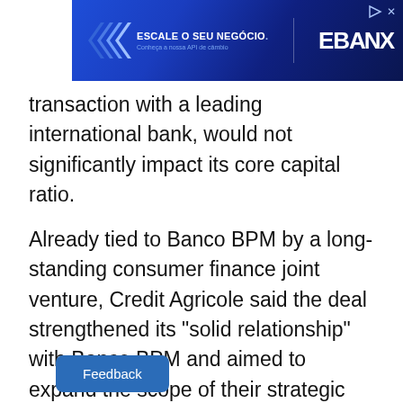[Figure (other): Advertisement banner for EBANX with blue gradient background, chevron arrows on left, text 'ESCALE O SEU NEGÓCIO.' and EBANX logo on right]
transaction with a leading international bank, would not significantly impact its core capital ratio.
Already tied to Banco BPM by a long-standing consumer finance joint venture, Credit Agricole said the deal strengthened its "solid relationship" with Banco BPM and aimed to expand the scope of their strategic partnerships.
Advertisement · Scroll to continue
Feedback